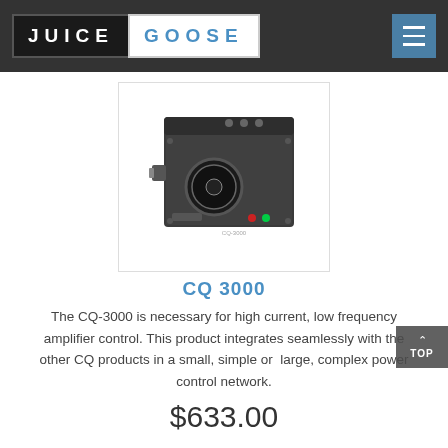JUICE GOOSE
[Figure (photo): CQ 3000 product photo — a small dark-grey metal box with connectors, a circular port, and indicator lights on the front panel, labeled CQ-3000.]
CQ 3000
The CQ-3000 is necessary for high current, low frequency amplifier control. This product integrates seamlessly with the other CQ products in a small, simple or large, complex power control network.
$633.00